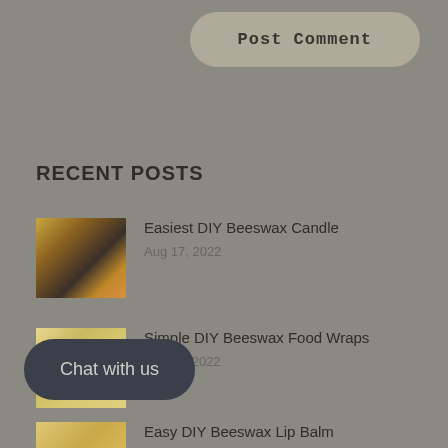[Figure (screenshot): Post Comment button — rounded pill shape with tan/khaki background color]
RECENT POSTS
[Figure (photo): Thumbnail photo of beeswax candles in small metal tins]
Easiest DIY Beeswax Candle
Aug 17, 2022
[Figure (photo): Thumbnail photo of beeswax food wraps with honeycomb texture]
Simple DIY Beeswax Food Wraps
Mar 11, 2022
[Figure (screenshot): Chat with us button — dark rounded pill shape]
[Figure (photo): Thumbnail photo of beeswax lip balm product]
Easy DIY Beeswax Lip Balm